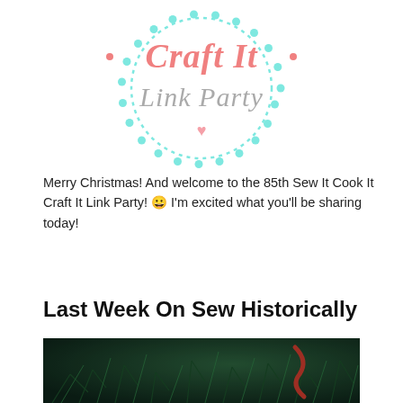[Figure (logo): Craft It Link Party circular logo with teal dotted border, pink cursive 'Craft It' text, gray italic 'Link Party' text, and a pink heart]
Merry Christmas! And welcome to the 85th Sew It Cook It Craft It Link Party! 😀 I'm excited what you'll be sharing today!
Last Week On Sew Historically
[Figure (photo): Close-up photo of dark green pine/yew branches with a red ribbon, watermarked with www.sewhistorically.com]